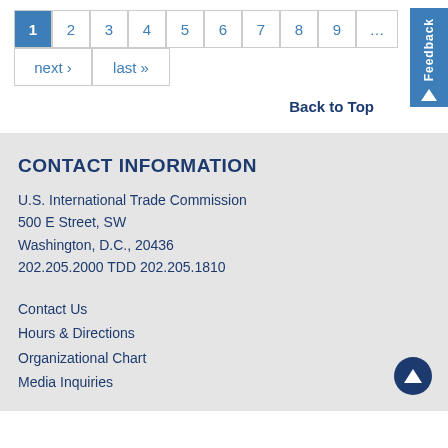Pagination: 1 (active) 2 3 4 5 6 7 8 9 ... next › last »
Back to Top
CONTACT INFORMATION
U.S. International Trade Commission
500 E Street, SW
Washington, D.C., 20436
202.205.2000 TDD 202.205.1810
Contact Us
Hours & Directions
Organizational Chart
Media Inquiries